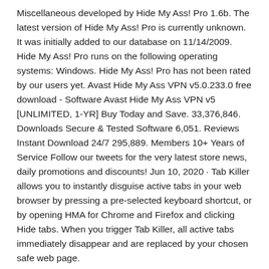Miscellaneous developed by Hide My Ass! Pro 1.6b. The latest version of Hide My Ass! Pro is currently unknown. It was initially added to our database on 11/14/2009. Hide My Ass! Pro runs on the following operating systems: Windows. Hide My Ass! Pro has not been rated by our users yet. Avast Hide My Ass VPN v5.0.233.0 free download - Software Avast Hide My Ass VPN v5 [UNLIMITED, 1-YR] Buy Today and Save. 33,376,846. Downloads Secure & Tested Software 6,051. Reviews Instant Download 24/7 295,889. Members 10+ Years of Service Follow our tweets for the very latest store news, daily promotions and discounts! Jun 10, 2020 · Tab Killer allows you to instantly disguise active tabs in your web browser by pressing a pre-selected keyboard shortcut, or by opening HMA for Chrome and Firefox and clicking Hide tabs. When you trigger Tab Killer, all active tabs immediately disappear and are replaced by your chosen safe web page.
2020-7-22 · While we mourn the